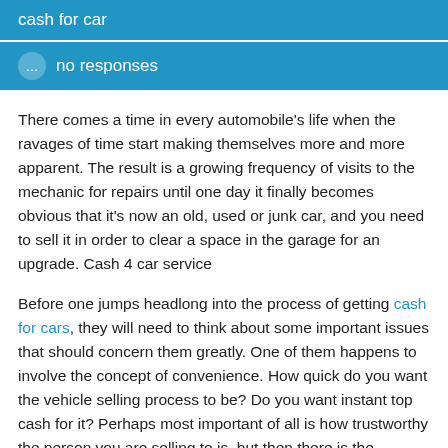cash for car
no responses
There comes a time in every automobile's life when the ravages of time start making themselves more and more apparent. The result is a growing frequency of visits to the mechanic for repairs until one day it finally becomes obvious that it's now an old, used or junk car, and you need to sell it in order to clear a space in the garage for an upgrade. Cash 4 car service
Before one jumps headlong into the process of getting cash for cars, they will need to think about some important issues that should concern them greatly. One of them happens to involve the concept of convenience. How quick do you want the vehicle selling process to be? Do you want instant top cash for it? Perhaps most important of all is how trustworthy the person you are selling to is, but then there is the advertising you have to do, as well as dealing with people who might want to buy the automobile in question.